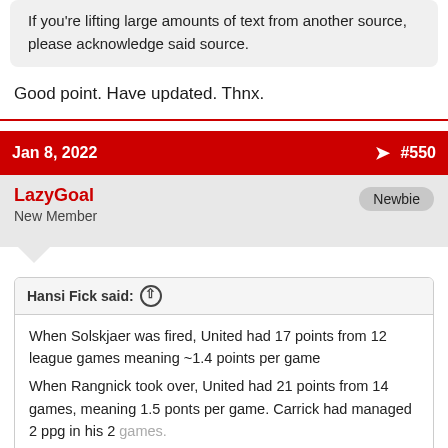If you're lifting large amounts of text from another source, please acknowledge said source.
Good point. Have updated. Thnx.
Jan 8, 2022  #550
LazyGoal
New Member
Newbie
Hansi Fick said: ↑
When Solskjaer was fired, United had 17 points from 12 league games meaning ~1.4 points per game
When Rangnick took over, United had 21 points from 14 games, meaning 1.5 ponts per game. Carrick had managed 2 ppg in his 2 games.
Click to expand...